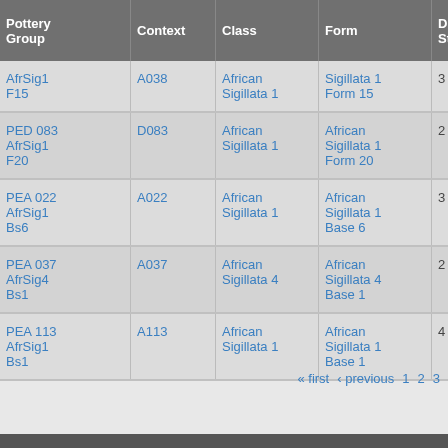| Pottery Group | Context | Class | Form | Depos Status | R Ct | R EVR ▲ |
| --- | --- | --- | --- | --- | --- | --- |
| AfrSig1 F15 | A038 | African Sigillata 1 | Sigillata 1 Form 15 | 3 |  |  |
| PED 083 AfrSig1 F20 | D083 | African Sigillata 1 | African Sigillata 1 Form 20 | 2 |  |  |
| PEA 022 AfrSig1 Bs6 | A022 | African Sigillata 1 | African Sigillata 1 Base 6 | 3 |  |  |
| PEA 037 AfrSig4 Bs1 | A037 | African Sigillata 4 | African Sigillata 4 Base 1 | 2 |  |  |
| PEA 113 AfrSig1 Bs1 | A113 | African Sigillata 1 | African Sigillata 1 Base 1 | 4 |  |  |
« first ‹ previous 1 2 3